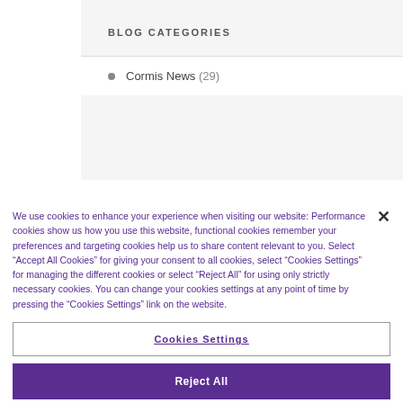BLOG CATEGORIES
Cormis News (29)
We use cookies to enhance your experience when visiting our website: Performance cookies show us how you use this website, functional cookies remember your preferences and targeting cookies help us to share content relevant to you. Select “Accept All Cookies” for giving your consent to all cookies, select “Cookies Settings” for managing the different cookies or select “Reject All” for using only strictly necessary cookies. You can change your cookies settings at any point of time by pressing the “Cookies Settings” link on the website.
Cookies Settings
Reject All
Accept All Cookies